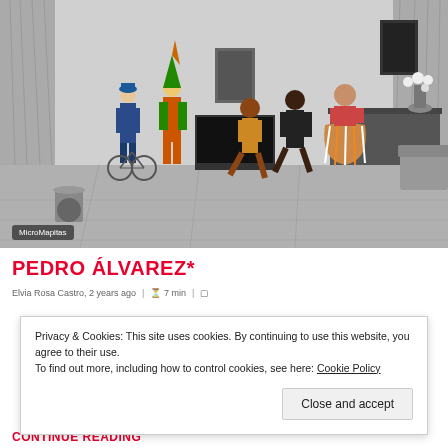[Figure (illustration): A painting showing colorful carnival/theatrical figures dancing in a monochrome interior room setting. Figures include costumed performers, clowns, and dancers in vibrant colors against a gray-scale background of a modern room with furniture. Watermark 'MicroMapitas' in bottom left corner.]
PEDRO ÁLVAREZ*
Elvia Rosa Castro, 2 years ago  |  7 min  |
Privacy & Cookies: This site uses cookies. By continuing to use this website, you agree to their use.
To find out more, including how to control cookies, see here: Cookie Policy
Close and accept
CONTINUE READING